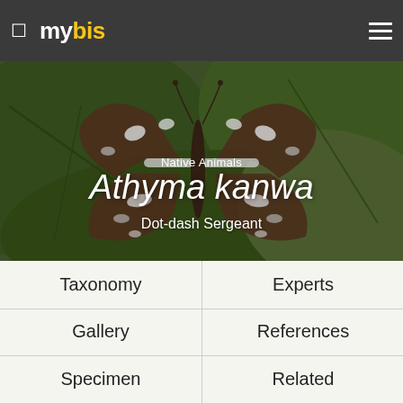mybis
[Figure (photo): Close-up photograph of a Dot-dash Sergeant butterfly (Athyma kanwa) resting on a large green leaf. The butterfly has dark brown wings with white dot-and-dash markings.]
Native Animals
Athyma kanwa
Dot-dash Sergeant
Taxonomy
Experts
Gallery
References
Specimen
Related